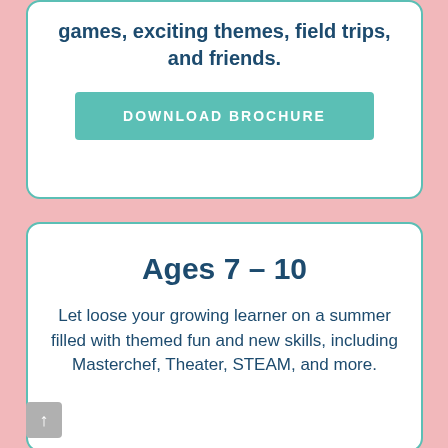games, exciting themes, field trips, and friends.
DOWNLOAD BROCHURE
Ages 7 – 10
Let loose your growing learner on a summer filled with themed fun and new skills, including Masterchef, Theater, STEAM, and more.